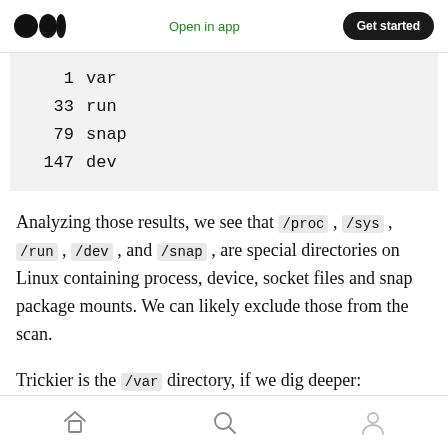Open in app  Get started
| 1 | var |
| 33 | run |
| 79 | snap |
| 147 | dev |
Analyzing those results, we see that /proc , /sys , /run , /dev , and /snap , are special directories on Linux containing process, device, socket files and snap package mounts. We can likely exclude those from the scan.
Trickier is the /var directory, if we dig deeper:
home  search  profile